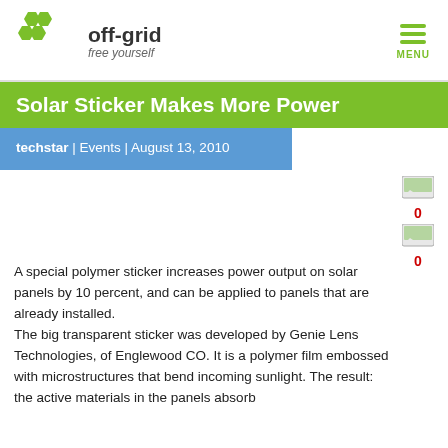off-grid free yourself | MENU
Solar Sticker Makes More Power
techstar | Events | August 13, 2010
[Figure (illustration): Two small social sharing icon buttons with count 0 each]
A special polymer sticker increases power output on solar panels by 10 percent, and can be applied to panels that are already installed. The big transparent sticker was developed by Genie Lens Technologies, of Englewood CO. It is a polymer film embossed with microstructures that bend incoming sunlight. The result: the active materials in the panels absorb